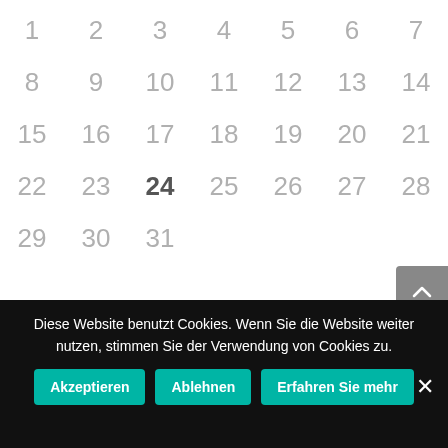| 1 | 2 | 3 | 4 | 5 | 6 | 7 |
| --- | --- | --- | --- | --- | --- | --- |
| 8 | 9 | 10 | 11 | 12 | 13 | 14 |
| 15 | 16 | 17 | 18 | 19 | 20 | 21 |
| 22 | 23 | 24 | 25 | 26 | 27 | 28 |
| 29 | 30 | 31 |  |  |  |  |
Diese Website benutzt Cookies. Wenn Sie die Website weiter nutzen, stimmen Sie der Verwendung von Cookies zu.
Akzeptieren
Ablehnen
Erfahren Sie mehr